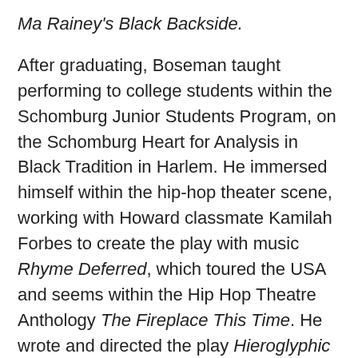Ma Rainey's Black Backside.
After graduating, Boseman taught performing to college students within the Schomburg Junior Students Program, on the Schomburg Heart for Analysis in Black Tradition in Harlem. He immersed himself within the hip-hop theater scene, working with Howard classmate Kamilah Forbes to create the play with music Rhyme Deferred, which toured the USA and seems within the Hip Hop Theatre Anthology The Fireplace This Time. He wrote and directed the play Hieroglyphic Graffiti, which was produced at Negro Playwright's Theatre, Kuntu Repertory, the Nationwide Black Theatre Competition, and the Hip Hop Theatre Competition.
Boseman's most well-known play is titled Deep Azure, which was commissioned and produced by the Congo Sq. Theatre Firm. It earned him a 2006 Jeff Award